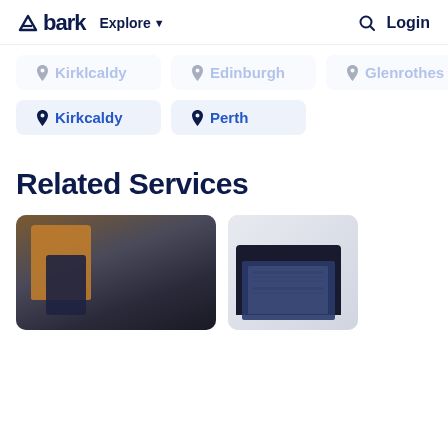bark  Explore  Login
Kirkcaldy
Perth
Related Services
[Figure (photo): Person in brown jacket working with a tool, dark background]
[Figure (photo): Laptop computer showing a dashboard or analytics screen]